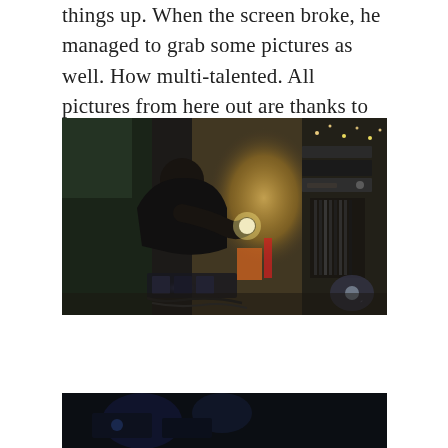things up. When the screen broke, he managed to grab some pictures as well. How multi-talented. All pictures from here out are thanks to him...
[Figure (photo): A man with tattoos, wearing a black shirt, smiling and working with electronic music equipment and pedals on the floor. In the background: vinyl records in a crate, audio equipment stacked on a shelf, string lights, curtains with warm yellow lighting, and various cables on the floor. A spotlight is visible in the lower right.]
[Figure (photo): Bottom portion of another photo, partially visible, showing what appears to be a musical performance or equipment setup with blue/cool lighting.]